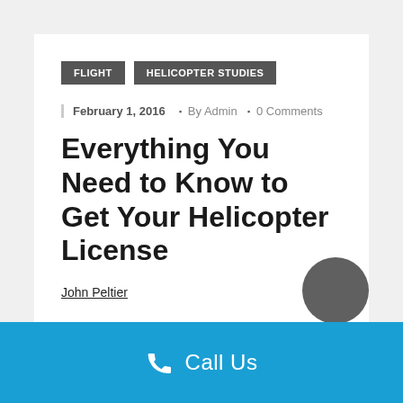FLIGHT
HELICOPTER STUDIES
February 1, 2016 • By Admin • 0 Comments
Everything You Need to Know to Get Your Helicopter License
John Peltier
Call Us